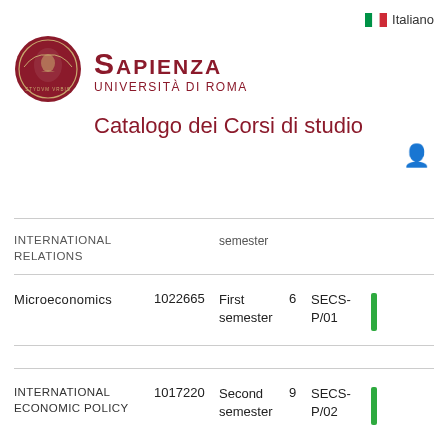[Figure (logo): Sapienza Università di Roma circular seal/crest with eagle and figure]
Sapienza Università di Roma
Catalogo dei Corsi di studio
| Course Name | Code | Period | CFU | SSD |  |
| --- | --- | --- | --- | --- | --- |
| INTERNATIONAL RELATIONS |  | semester |  |  |  |
| Microeconomics | 1022665 | First semester | 6 | SECS-P/01 |  |
| INTERNATIONAL ECONOMIC POLICY | 1017220 | Second semester | 9 | SECS-P/02 |  |